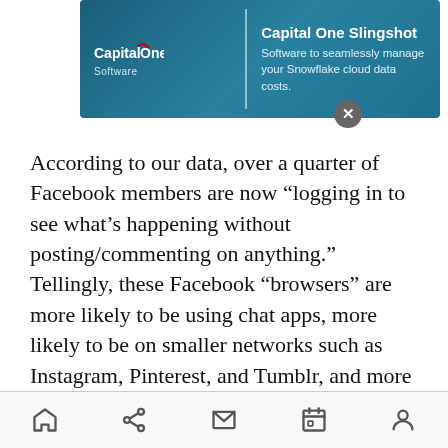[Figure (screenshot): Capital One Slingshot advertisement banner with blue gradient background. Shows Capital One Software logo on the left and text 'Capital One Slingshot - Software to seamlessly manage your Snowflake cloud data costs.' on the right. Has a close (X) button in the bottom-right corner.]
According to our data, over a quarter of Facebook members are now “logging in to see what’s happening without posting/commenting on anything.” Tellingly, these Facebook “browsers” are more likely to be using chat apps, more likely to be on smaller networks such as Instagram, Pinterest, and Tumblr, and more likely to be 16–24. All of these individuals will be counted as active by Facebook but, in reality, an active user in 2015 is quite different from an active user earlier in the decade.
[Figure (screenshot): Mobile browser navigation bar at the bottom with five icons: home, share, mail/envelope, calendar/bookmark, and user/person.]